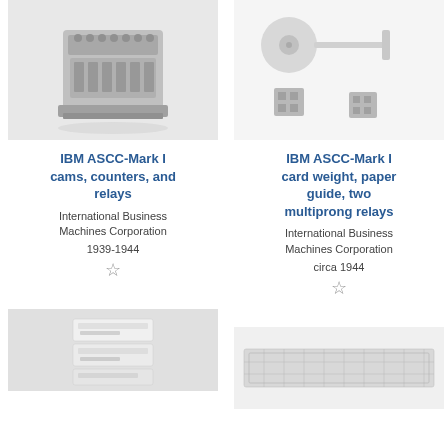[Figure (photo): IBM ASCC-Mark I cams, counters, and relays - vintage computing hardware component photo on gray background]
IBM ASCC-Mark I cams, counters, and relays
International Business Machines Corporation
1939-1944
[Figure (photo): IBM ASCC-Mark I card weight, paper guide, two multiprong relays - hardware components photo on white background]
IBM ASCC-Mark I card weight, paper guide, two multiprong relays
International Business Machines Corporation
circa 1944
[Figure (photo): IBM ASCC-Mark I component - rectangular white/beige component on gray background]
[Figure (photo): IBM ASCC-Mark I component - long rectangular component with grid pattern on light background]